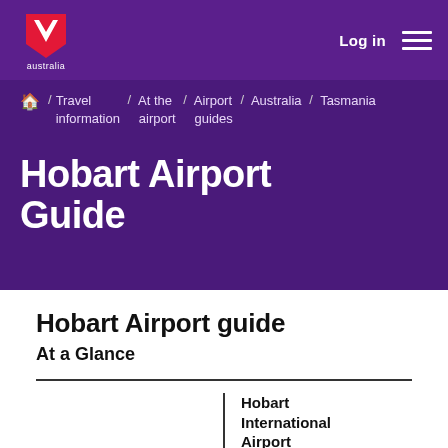[Figure (logo): Virgin Australia logo: red shield with stylized 'V' graphic and 'australia' text below in white]
Log in
🏠 / Travel information / At the airport / Airport guides / Australia / Tasmania
Hobart Airport Guide
Hobart Airport guide
At a Glance
Hobart International Airport